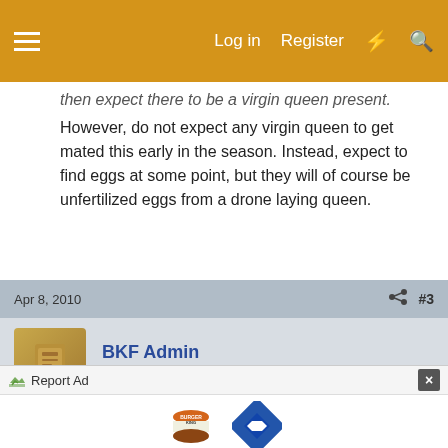Log in  Register
then expect there to be a virgin queen present.
However, do not expect any virgin queen to get mated this early in the season. Instead, expect to find eggs at some point, but they will of course be unfertilized eggs from a drone laying queen.
Apr 8, 2010  #3
BKF Admin
Queen Bee  Beekeeping Sponsor
The cold snap may of put her off lay,I would check again during weekend.
Report Ad